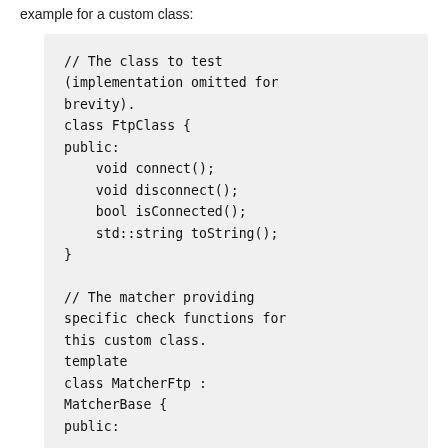example for a custom class:
[Figure (screenshot): Code block showing C++ class FtpClass definition and the beginning of MatcherFtp class definition with comments]